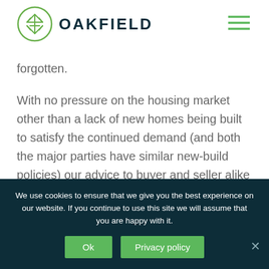[Figure (logo): Oakfield logo: circular green icon with tree/leaf pattern on the left, bold dark teal text OAKFIELD on the right]
forgotten.
With no pressure on the housing market other than a lack of new homes being built to satisfy the continued demand (and both the major parties have similar new-build policies) our advice to buyer and seller alike would be; if a move would suit you, there is no compelling reason why you shouldn't do it. And if you are
We use cookies to ensure that we give you the best experience on our website. If you continue to use this site we will assume that you are happy with it.